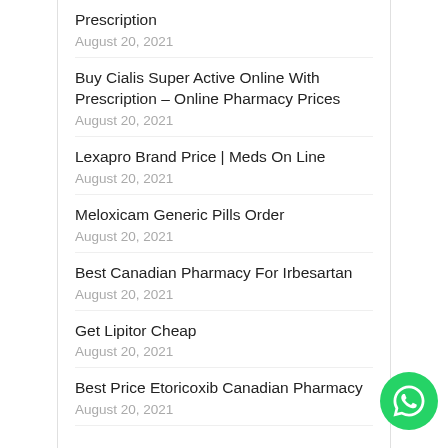Prescription
August 20, 2021
Buy Cialis Super Active Online With Prescription – Online Pharmacy Prices
August 20, 2021
Lexapro Brand Price | Meds On Line
August 20, 2021
Meloxicam Generic Pills Order
August 20, 2021
Best Canadian Pharmacy For Irbesartan
August 20, 2021
Get Lipitor Cheap
August 20, 2021
Best Price Etoricoxib Canadian Pharmacy
August 20, 2021
Where Can I Buy Acticin